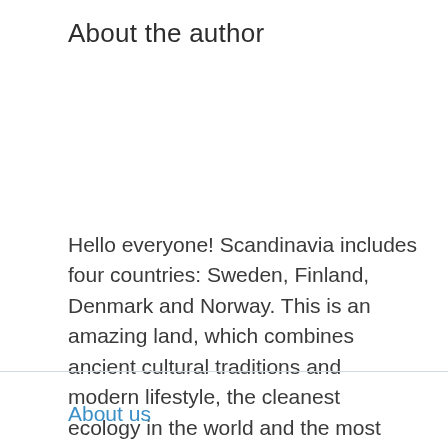About the author
Hello everyone! Scandinavia includes four countries: Sweden, Finland, Denmark and Norway. This is an amazing land, which combines ancient cultural traditions and modern lifestyle, the cleanest ecology in the world and the most progressive industrial enterprises.
About us